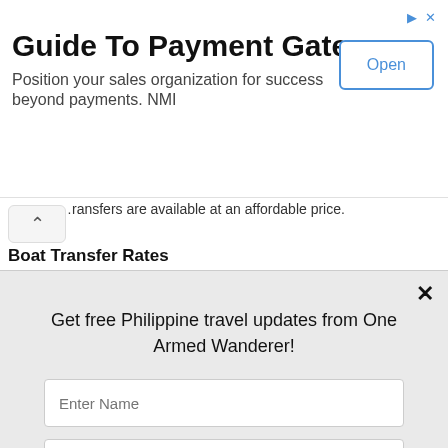[Figure (screenshot): Advertisement banner for NMI payment gateways with title 'Guide To Payment Gateways', body text, and an Open button]
…ransfers are available at an affordable price.
Boat Transfer Rates
Get free Philippine travel updates from One Armed Wanderer!
Enter Name
Enter your email
Yes!
powered by MailMunch